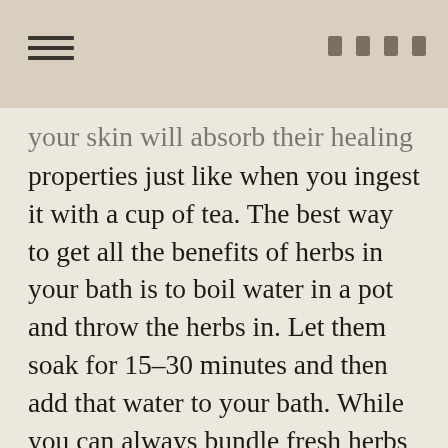your skin will absorb their healing properties just like when you ingest it with a cup of tea. The best way to get all the benefits of herbs in your bath is to boil water in a pot and throw the herbs in. Let them soak for 15–30 minutes and then add that water to your bath. While you can always bundle fresh herbs or put dried herbs in a stocking or nut bag, the temperature of bath water won't pull out all their nutrients, so boiling water first and letting them soak will provide the strongest source of nourishment